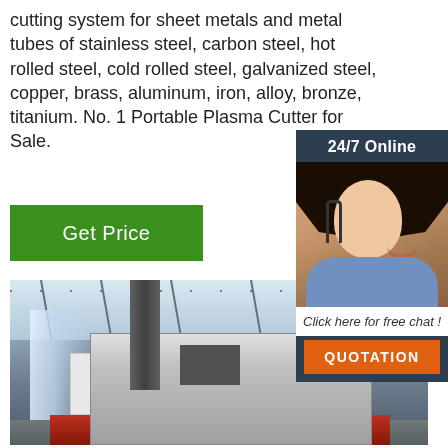cutting system for sheet metals and metal tubes of stainless steel, carbon steel, hot rolled steel, cold rolled steel, galvanized steel, copper, brass, aluminum, iron, alloy, bronze, titanium. No. 1 Portable Plasma Cutter for Sale.
[Figure (photo): Customer service representative with headset, smiling, with '24/7 Online' header, 'Click here for free chat!' text, and orange QUOTATION button in a dark sidebar panel]
Get Price
[Figure (photo): Industrial manufacturing facility interior showing a large CNC plasma cutting machine with red and white body, dark vertical column, inside a warehouse with metal roof trusses and natural light from windows]